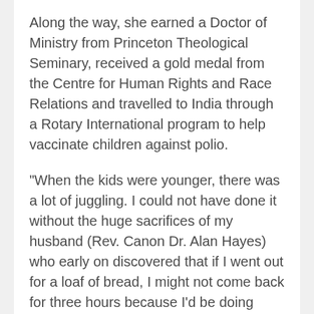Along the way, she earned a Doctor of Ministry from Princeton Theological Seminary, received a gold medal from the Centre for Human Rights and Race Relations and travelled to India through a Rotary International program to help vaccinate children against polio.
“When the kids were younger, there was a lot of juggling. I could not have done it without the huge sacrifices of my husband (Rev. Canon Dr. Alan Hayes) who early on discovered that if I went out for a loaf of bread, I might not come back for three hours because I’d be doing pastoral care or chatting with people in every aisle of the grocery store, so he took over